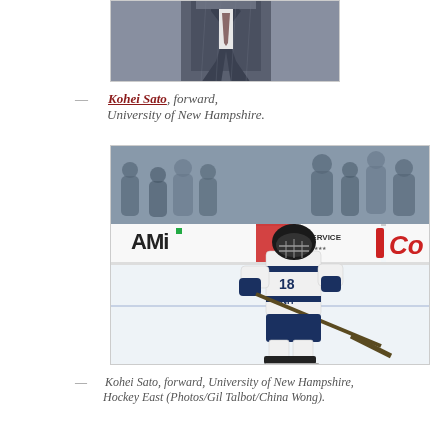[Figure (photo): Portrait photo of a person in a dark suit, cropped at torso level]
— Kohei Sato, forward, University of New Hampshire.
[Figure (photo): Hockey player wearing #18 white UNH jersey skating on ice rink with AMi advertising board visible in background, spectators in stands]
— Kohei Sato, forward, University of New Hampshire, Hockey East (Photos/Gil Talbot/China Wong).